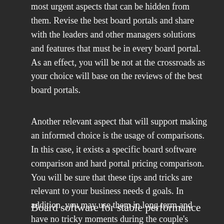most urgent aspects that can be hidden from them. Revise the best board portals and share with the leaders and other managers solutions and features that must be in every board portal. As an effect, you will be not at the crossroads as your choice will base on the reviews of the best board portals.
Another relevant aspect that will support making an informed choice is the usage of comparisons. In this case, it exists a specific board software comparison and hard portal pricing comparison. You will be sure that these tips and tricks are relevant to your business needs d goals. In addition, you may use them in long term and have no tricky moments during the couple's working routine.
Board software for stable performance